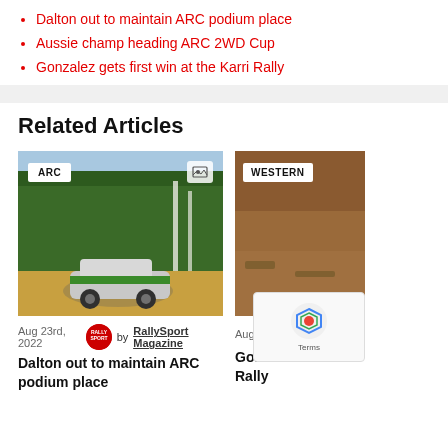Dalton out to maintain ARC podium place
Aussie champ heading ARC 2WD Cup
Gonzalez gets first win at the Karri Rally
Related Articles
[Figure (photo): Rally car (green/white livery, SHAMROCK sponsor) racing on a dirt road with pine forest in background. ARC badge top-left, image icon top-right.]
Aug 23rd, 2022  by RallySport Magazine
Dalton out to maintain ARC podium place
[Figure (photo): Partial view of a rally car on a dirt/gravel road, reddish terrain. WESTERN badge top-left.]
Aug 22nd, 2
Gonzalez ... Rally